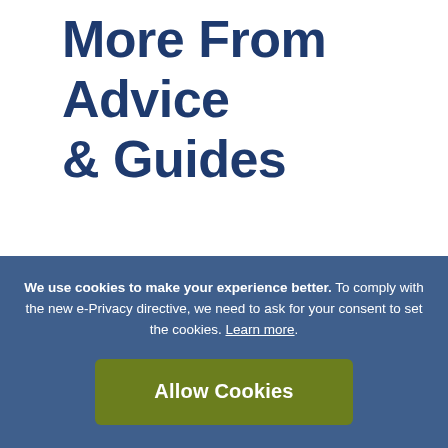More From Advice & Guides
We use cookies to make your experience better. To comply with the new e-Privacy directive, we need to ask for your consent to set the cookies. Learn more.
Allow Cookies